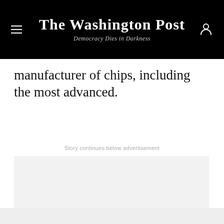The Washington Post — Democracy Dies in Darkness
manufacturer of chips, including the most advanced.
Story continues below advertisement
[Figure (other): Advertisement placeholder — light gray empty rectangle]